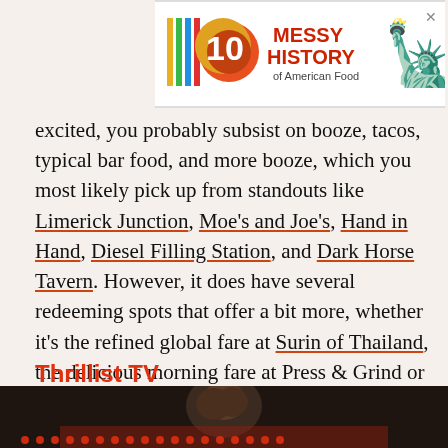[Figure (other): Advertisement banner for 'Messy History of American Food' with colorful logo and Statue of Liberty illustration, with a close (X) button]
excited, you probably subsist on booze, tacos, typical bar food, and more booze, which you most likely pick up from standouts like Limerick Junction, Moe's and Joe's, Hand in Hand, Diesel Filling Station, and Dark Horse Tavern. However, it does have several redeeming spots that offer a bit more, whether it's the refined global fare at Surin of Thailand, the delicious morning fare at Press & Grind or The Warren, the burgers at Illegal Food, or the spot-on seafood at Fontaine's Oyster House.
Thrillist TV
[Figure (screenshot): Video thumbnail showing a person from behind, dark toned image at bottom of page]